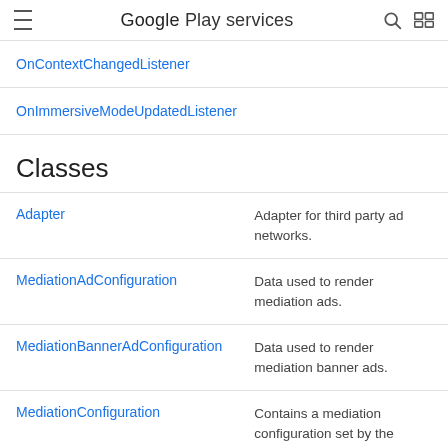Google Play services
OnContextChangedListener
OnImmersiveModeUpdatedListener
Classes
|  |  |
| --- | --- |
| Adapter | Adapter for third party ad networks. |
| MediationAdConfiguration | Data used to render mediation ads. |
| MediationBannerAdConfiguration | Data used to render mediation banner ads. |
| MediationConfiguration | Contains a mediation configuration set by the |